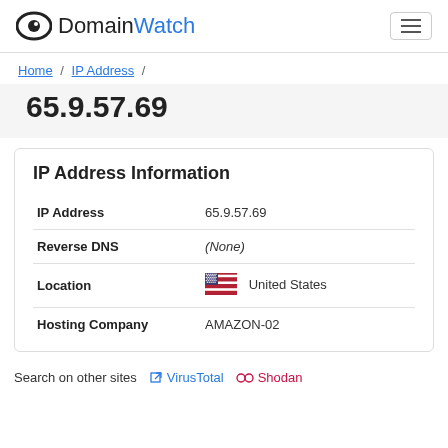DomainWatch
Home / IP Address /
65.9.57.69
IP Address Information
| Field | Value |
| --- | --- |
| IP Address | 65.9.57.69 |
| Reverse DNS | (None) |
| Location | United States |
| Hosting Company | AMAZON-02 |
Search on other sites   VirusTotal   Shodan